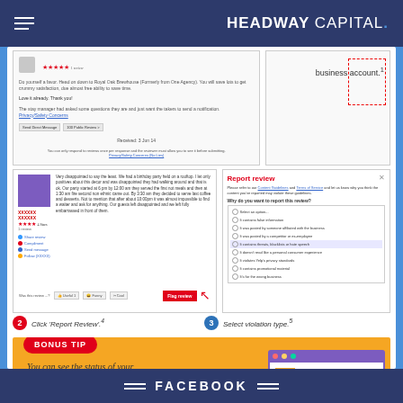HEADWAY CAPITAL
[Figure (screenshot): Yelp review page screenshot showing a business review with red dashed highlight box]
business account.¹
[Figure (screenshot): Yelp review screenshot showing negative birthday party review with 'Flag review' button highlighted]
[Figure (screenshot): Report review dialog box with dropdown options for violation type]
Click 'Report Review'.⁴
Select violation type.⁵
[Figure (screenshot): Bonus tip screenshot showing a browser window with a flag icon being hovered over]
You can see the status of your report by hovering your cursor over the flag icon.⁸
FACEBOOK